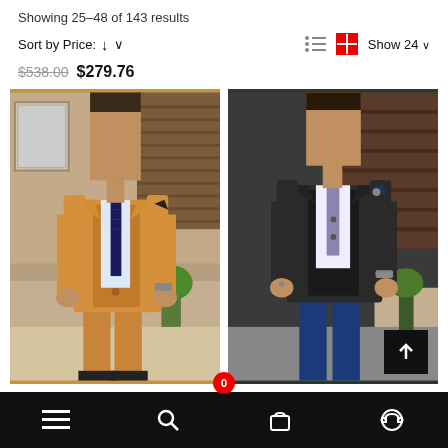Showing 25–48 of 143 results
Sort by Price: ↓ ∨
Show 24 ∨
$538.00 $279.76
[Figure (photo): Man wearing a tan/camel three-piece suit with dark tie, standing in a living room setting]
[Figure (photo): Man wearing a dark charcoal three-piece suit with purple/lavender tie and jeans, standing in a room setting]
≡  🔍  🛍  🎧  0